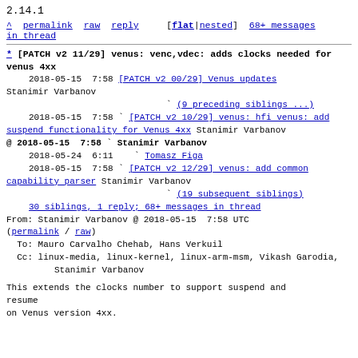2.14.1
^ permalink raw reply [flat|nested] 68+ messages in thread
* [PATCH v2 11/29] venus: venc,vdec: adds clocks needed for venus 4xx
  2018-05-15  7:58 [PATCH v2 00/29] Venus updates Stanimir Varbanov
                    ` (9 preceding siblings ...)
  2018-05-15  7:58 ` [PATCH v2 10/29] venus: hfi venus: add suspend functionality for Venus 4xx Stanimir Varbanov
@ 2018-05-15  7:58 ` Stanimir Varbanov
  2018-05-24  6:11   ` Tomasz Figa
  2018-05-15  7:58 ` [PATCH v2 12/29] venus: add common capability parser Stanimir Varbanov
                    ` (19 subsequent siblings)
  30 siblings, 1 reply; 68+ messages in thread
From: Stanimir Varbanov @ 2018-05-15  7:58 UTC (permalink / raw)
To: Mauro Carvalho Chehab, Hans Verkuil
Cc: linux-media, linux-kernel, linux-arm-msm, Vikash Garodia,
        Stanimir Varbanov

This extends the clocks number to support suspend and resume
on Venus version 4xx.